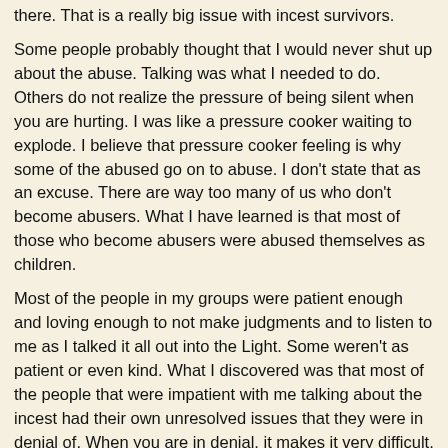there. That is a really big issue with incest survivors.
Some people probably thought that I would never shut up about the abuse. Talking was what I needed to do. Others do not realize the pressure of being silent when you are hurting. I was like a pressure cooker waiting to explode. I believe that pressure cooker feeling is why some of the abused go on to abuse. I don't state that as an excuse. There are way too many of us who don't become abusers. What I have learned is that most of those who become abusers were abused themselves as children.
Most of the people in my groups were patient enough and loving enough to not make judgments and to listen to me as I talked it all out into the Light. Some weren't as patient or even kind. What I discovered was that most of the people that were impatient with me talking about the incest had their own unresolved issues that they were in denial of. When you are in denial, it makes it very difficult, if not impossible, to listen compassionately to others talk about their issues.
For awhile, my words flowed out of me like a run-away flood washing over everything in its path. I had held the words in